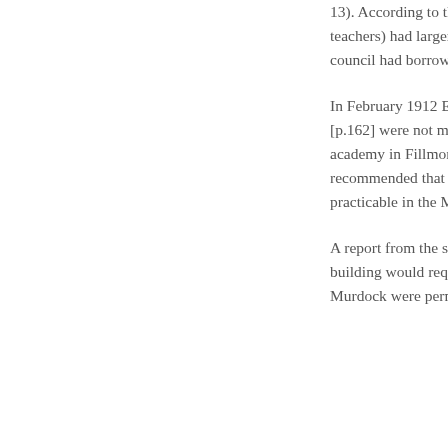13). According to the Board listed only eight. Only Snow teachers) had larger facultie even though work on the ne high council had borrowed $ payments.
In February 1912 Ericksen a Education. Ericksen submitt [p.162] were not made soon to the students, prospects fo academy in Fillmore, plus th to maintain an adequate stu recommended that the acad restricted from that area and far as practicable in the Mur
A report from the stake pres better facilities and greater i building would require anoth Beaver Stake had fulfilled its Murdock were permitted to l incentive to raise funds.